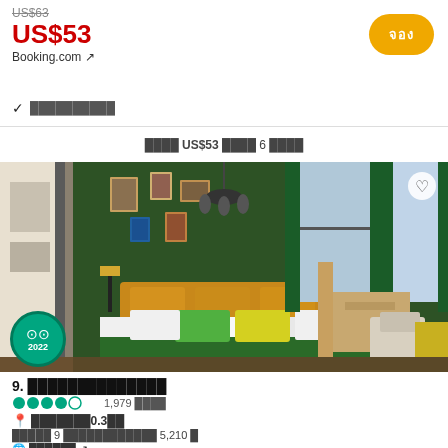US$63 (strikethrough)
US$53
Booking.com ↗
✓ ██████████
█████ US$53 ████ 6 ████
[Figure (photo): Hotel room with green walls, green bed cover, yellow headboard, colorful pillows, large windows with green curtains, framed art on walls, TripAdvisor 2022 badge in bottom left corner]
9. ██████████████
●●●●○ 1,979 ████
📍 ███████0.3██
█████ 9 ████████████ 5,210 █
🌐 ██████ ↗